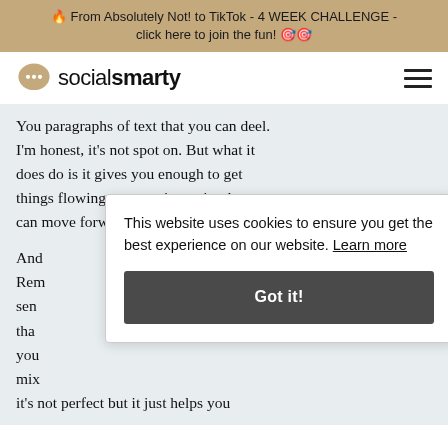🔥 From Absolutely Not! to TikTok - 4 WEEK CHALLENGE - click here to join the fun! 🎯🎯
[Figure (logo): Social Smarty logo with speech bubble icon and text 'socialsmarty']
You paragraphs of text that you can deel. I'm honest, it's not spot on. But what it does do is it gives you enough to get things flowing or a starting point that you can move forward from.
And... Rem sen tha you mix it's not perfect but it just helps you
This website uses cookies to ensure you get the best experience on our website. Learn more
Got it!